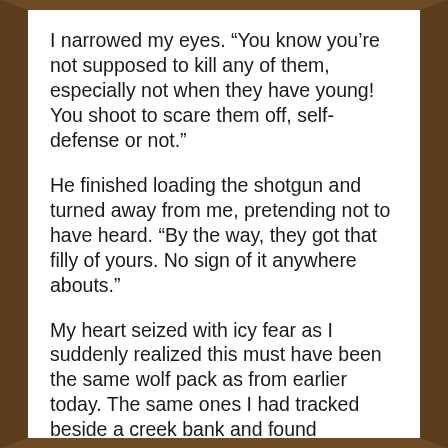I narrowed my eyes. “You know you’re not supposed to kill any of them, especially not when they have young! You shoot to scare them off, self-defense or not.”
He finished loading the shotgun and turned away from me, pretending not to have heard. “By the way, they got that filly of yours. No sign of it anywhere abouts.”
My heart seized with icy fear as I suddenly realized this must have been the same wolf pack as from earlier today. The same ones I had tracked beside a creek bank and found surrounding the filly, even though I had passed her lifeless mother earlier, lying amidst a confusion of wolf and bear prints in the mud of the creek. I wanted to sink to my knees and curl